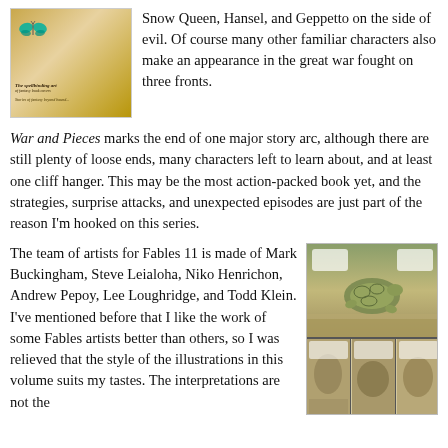[Figure (illustration): Book cover thumbnail with butterfly and golden/brown tones]
Snow Queen, Hansel, and Geppetto on the side of evil. Of course many other familiar characters also make an appearance in the great war fought on three fronts.
War and Pieces marks the end of one major story arc, although there are still plenty of loose ends, many characters left to learn about, and at least one cliff hanger. This may be the most action-packed book yet, and the strategies, surprise attacks, and unexpected episodes are just part of the reason I'm hooked on this series.
The team of artists for Fables 11 is made of Mark Buckingham, Steve Leialoha, Niko Henrichon, Andrew Pepoy, Lee Loughridge, and Todd Klein. I've mentioned before that I like the work of some Fables artists better than others, so I was relieved that the style of the illustrations in this volume suits my tastes. The interpretations are not the
[Figure (illustration): Comic book panel artwork showing a turtle and other characters in a nature scene, split into multiple panels]